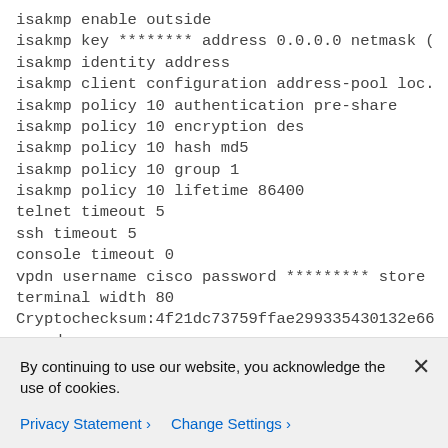isakmp enable outside
isakmp key ******** address 0.0.0.0 netmask (
isakmp identity address
isakmp client configuration address-pool loc.
isakmp policy 10 authentication pre-share
isakmp policy 10 encryption des
isakmp policy 10 hash md5
isakmp policy 10 group 1
isakmp policy 10 lifetime 86400
telnet timeout 5
ssh timeout 5
console timeout 0
vpdn username cisco password ********* store
terminal width 80
Cryptochecksum:4f21dc73759ffae299335430132e66
: end
By continuing to use our website, you acknowledge the use of cookies.
Privacy Statement > Change Settings >